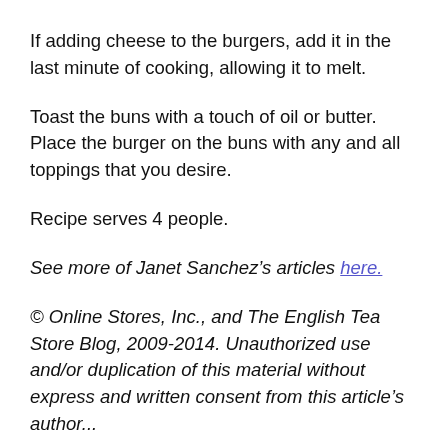If adding cheese to the burgers, add it in the last minute of cooking, allowing it to melt.
Toast the buns with a touch of oil or butter. Place the burger on the buns with any and all toppings that you desire.
Recipe serves 4 people.
See more of Janet Sanchez’s articles here.
© Online Stores, Inc., and The English Tea Store Blog, 2009-2014. Unauthorized use and/or duplication of this material without express and written consent from this article’s author...